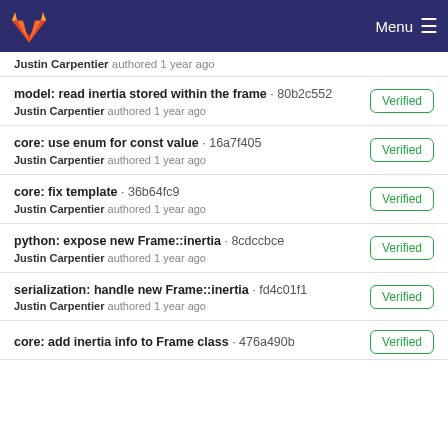Justin Carpentier authored 1 year ago
model: read inertia stored within the frame · 80b2c552 — Justin Carpentier authored 1 year ago — Verified
core: use enum for const value · 16a7f405 — Justin Carpentier authored 1 year ago — Verified
core: fix template · 36b64fc9 — Justin Carpentier authored 1 year ago — Verified
python: expose new Frame::inertia · 8cdccbce — Justin Carpentier authored 1 year ago — Verified
serialization: handle new Frame::inertia · fd4c01f1 — Justin Carpentier authored 1 year ago — Verified
core: add inertia info to Frame class · 476a490b — Verified